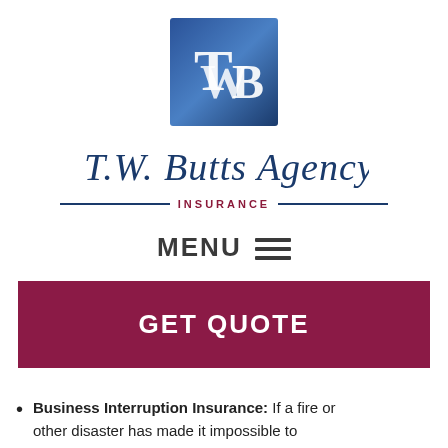[Figure (logo): T.W. Butts Agency Insurance logo with blue square TWB monogram and cursive agency name]
MENU ≡
GET QUOTE
Business Interruption Insurance: If a fire or other disaster has made it impossible to